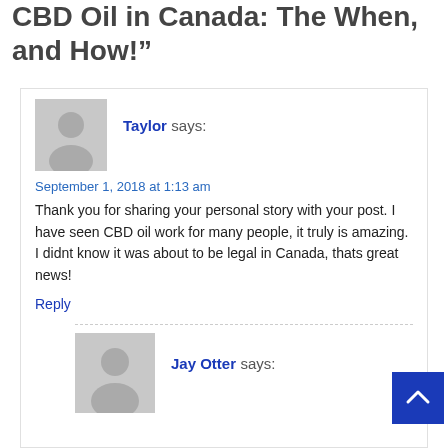CBD Oil in Canada: The When, and How!”
Taylor says:
September 1, 2018 at 1:13 am
Thank you for sharing your personal story with your post. I have seen CBD oil work for many people, it truly is amazing. I didnt know it was about to be legal in Canada, thats great news!
Reply
Jay Otter says: